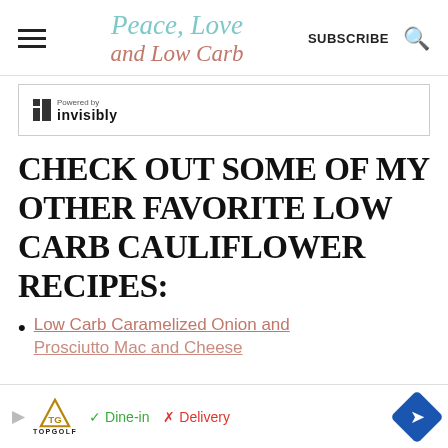Peace, Love and Low Carb | SUBSCRIBE
[Figure (screenshot): Powered by Invisibly banner/widget]
CHECK OUT SOME OF MY OTHER FAVORITE LOW CARB CAULIFLOWER RECIPES:
Low Carb Caramelized Onion and Prosciutto Mac and Cheese
[Figure (screenshot): Topgolf advertisement bar with Dine-in and Delivery options]